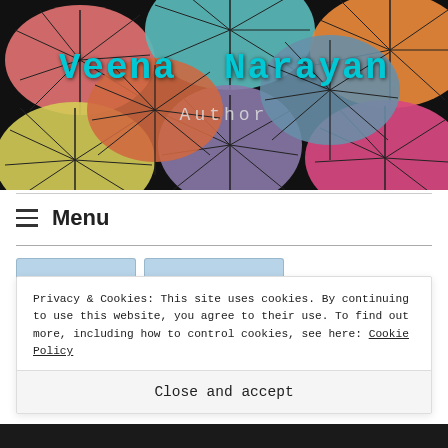[Figure (photo): Colorful umbrellas viewed from below against a dark background]
Veena  Narayan
Author
Menu
Privacy & Cookies: This site uses cookies. By continuing to use this website, you agree to their use. To find out more, including how to control cookies, see here: Cookie Policy
Close and accept